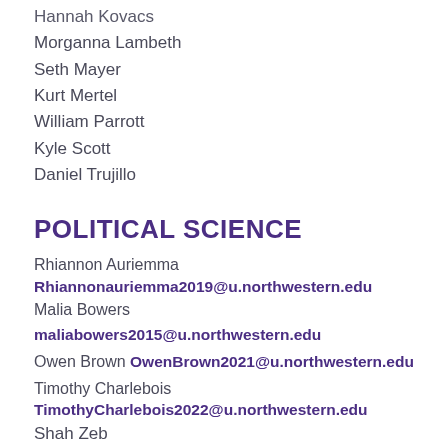Hannah Kovacs
Morganna Lambeth
Seth Mayer
Kurt Mertel
William Parrott
Kyle Scott
Daniel Trujillo
POLITICAL SCIENCE
Rhiannon Auriemma
Rhiannonauriemma2019@u.northwestern.edu
Malia Bowers maliabowers2015@u.northwestern.edu
Owen Brown OwenBrown2021@u.northwestern.edu
Timothy Charlebois
TimothyCharlebois2022@u.northwestern.edu
Shah Zeb